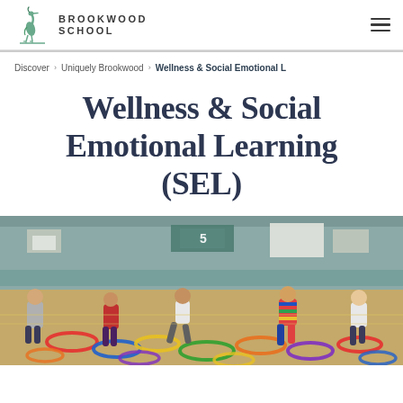Brookwood School
Discover > Uniquely Brookwood > Wellness & Social Emotional L
Wellness & Social Emotional Learning (SEL)
[Figure (photo): Children playing with colorful hula hoops on a gymnasium floor at Brookwood School]